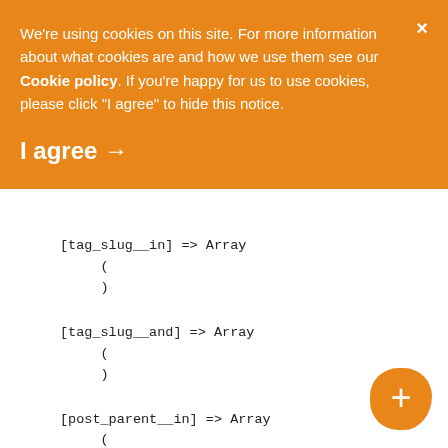We're using cookies on this site. For more information about what cookies are and how we use them see our Cookie policy. If you're happy for us to use cookies, please click "I agree" to hide this notice.
I agree →
[tag_slug__in] => Array
    (
    )
[tag_slug__and] => Array
    (
    )
[post_parent__in] => Array
    (
    )